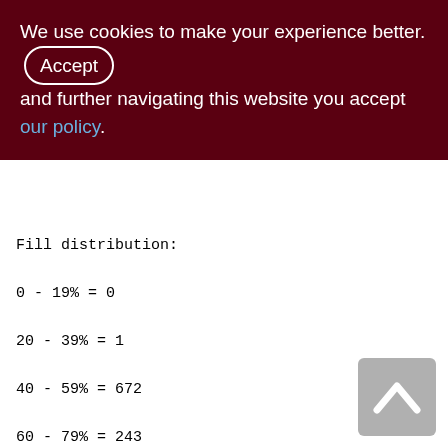We use cookies to make your experience better. By accepting and further navigating this website you accept our policy.
Fill distribution:
0 - 19% = 0
20 - 39% = 1
40 - 59% = 672
60 - 79% = 243
80 - 99% = 70
Index XQS_1200_2000_RCV_ID (2)
Depth: 3, leaf buckets: 700, nodes: 941965
Average data length: 0.71, total dup: 830891, max dup: 49
Fill distribution:
0 - 19% = 0